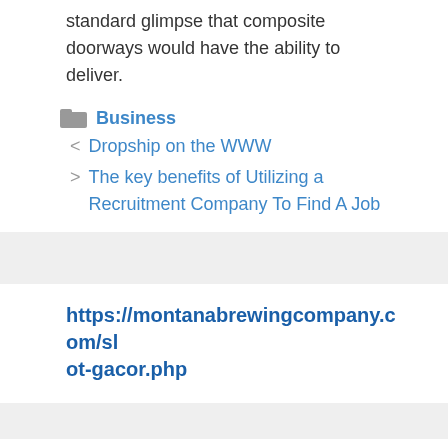standard glimpse that composite doorways would have the ability to deliver.
Business
< Dropship on the WWW
> The key benefits of Utilizing a Recruitment Company To Find A Job
https://montanabrewingcompany.com/slot-gacor.php
mesin slot